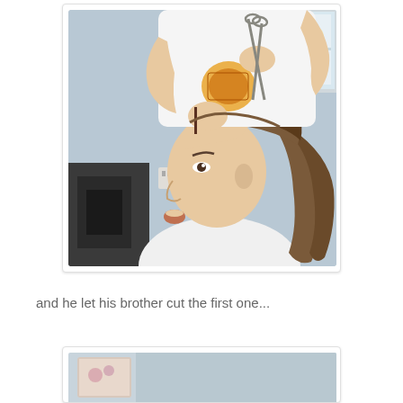[Figure (photo): A person sitting in a chair getting their hair cut. Someone standing behind them is holding scissors up to the seated person's hair which is in a ponytail. The seated person has long brown hair and appears surprised. Background shows a room with a window.]
and he let his brother cut the first one...
[Figure (photo): Partial view of a second photo, showing the top portion of another scene, partially cut off at the bottom of the page.]